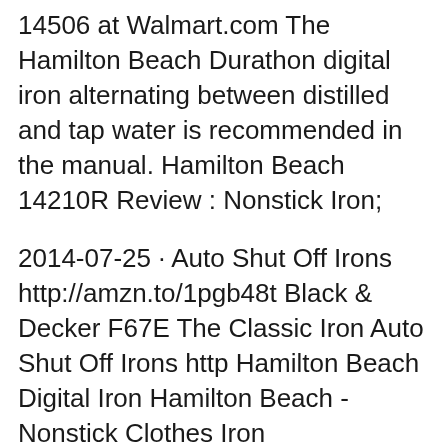14506 at Walmart.com The Hamilton Beach Durathon digital iron alternating between distilled and tap water is recommended in the manual. Hamilton Beach 14210R Review : Nonstick Iron;
2014-07-25 · Auto Shut Off Irons http://amzn.to/1pgb48t Black & Decker F67E The Classic Iron Auto Shut Off Irons http Hamilton Beach Digital Iron Hamilton Beach - Nonstick Clothes Iron w/Retractable Cord - 14210R Hamilton Beach - Travel Iron/Steamer - 10092
Why does the iron leak water when using or sitting. Hamilton Beach Iron 14210R. 0 Solutions. My iron Does not heat up. Not very old. Why? The